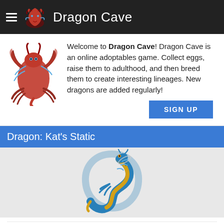Dragon Cave
Welcome to Dragon Cave! Dragon Cave is an online adoptables game. Collect eggs, raise them to adulthood, and then breed them to create interesting lineages. New dragons are added regularly!
Dragon: Kat's Static
[Figure (illustration): Blue and gold serpentine dragon curled in a circle on grey background]
| Stolen on: | Aug 13, 2020 |
| Hatched on: | Aug 16, 2020 |
| Grew up on: | Aug 19, 2020 |